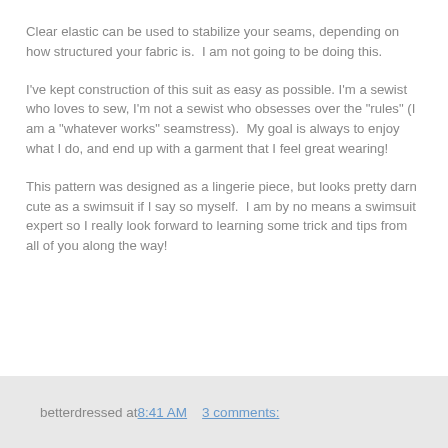Clear elastic can be used to stabilize your seams, depending on how structured your fabric is.  I am not going to be doing this.
I've kept construction of this suit as easy as possible. I'm a sewist who loves to sew, I'm not a sewist who obsesses over the "rules" (I am a "whatever works" seamstress).  My goal is always to enjoy what I do, and end up with a garment that I feel great wearing!
This pattern was designed as a lingerie piece, but looks pretty darn cute as a swimsuit if I say so myself.  I am by no means a swimsuit expert so I really look forward to learning some trick and tips from all of you along the way!
betterdressed at 8:41 AM     3 comments: